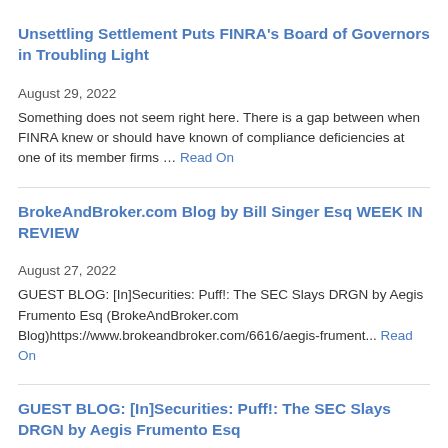Unsettling Settlement Puts FINRA's Board of Governors in Troubling Light
August 29, 2022
Something does not seem right here. There is a gap between when FINRA knew or should have known of compliance deficiencies at one of its member firms … Read On
BrokeAndBroker.com Blog by Bill Singer Esq WEEK IN REVIEW
August 27, 2022
GUEST BLOG: [In]Securities: Puff!: The SEC Slays DRGN by Aegis Frumento Esq (BrokeAndBroker.com Blog)https://www.brokeandbroker.com/6616/aegis-frument... Read On
GUEST BLOG: [In]Securities: Puff!: The SEC Slays DRGN by Aegis Frumento Esq
August 26, 2022
[In]Securities a Guest Blog byAegis L. Frumento, Partner, Stern